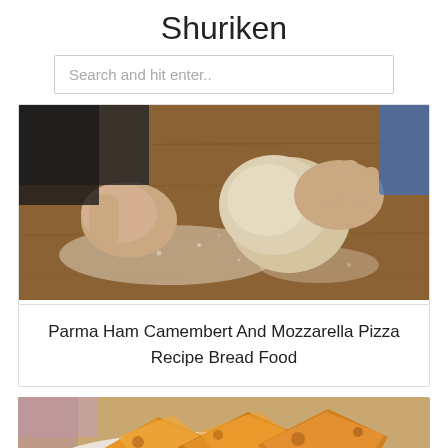Shuriken
Search and hit enter..
[Figure (photo): Hands kneading a ball of dough on a floured wooden surface]
Parma Ham Camembert And Mozzarella Pizza Recipe Bread Food
[Figure (photo): Fried pastry pieces in a white bowl]